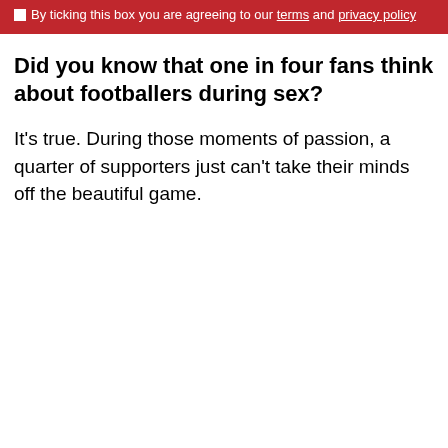By ticking this box you are agreeing to our terms and privacy policy
Did you know that one in four fans think about footballers during sex?
It's true. During those moments of passion, a quarter of supporters just can't take their minds off the beautiful game.